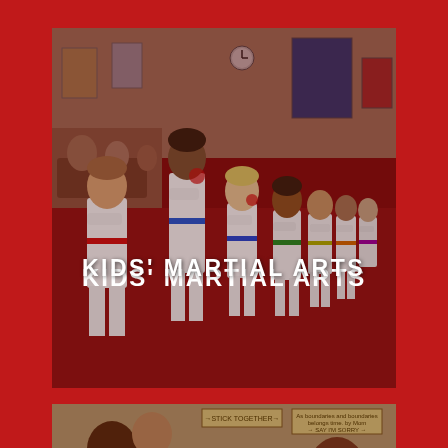[Figure (photo): Children in white martial arts uniforms (gi) with colored belts standing in a line on a red mat in a martial arts dojo. They appear to be saluting or pledging allegiance. Parents and onlookers are seated in the background.]
KIDS' MARTIAL ARTS
[Figure (photo): Group of people including adults and children in a martial arts studio setting. A person in a white gi with a martial arts patch is visible. Signs on the wall read 'STICK TOGETHER' and 'SAY I'M SORRY'.]